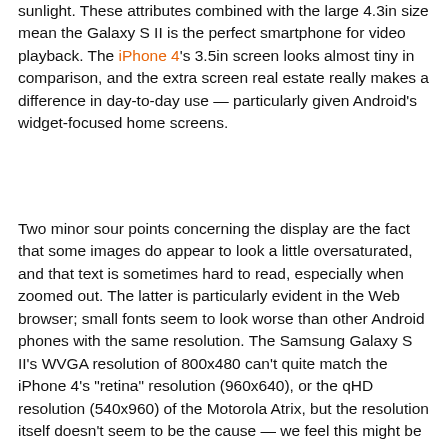sunlight. These attributes combined with the large 4.3in size mean the Galaxy S II is the perfect smartphone for video playback. The iPhone 4's 3.5in screen looks almost tiny in comparison, and the extra screen real estate really makes a difference in day-to-day use — particularly given Android's widget-focused home screens.
Two minor sour points concerning the display are the fact that some images do appear to look a little oversaturated, and that text is sometimes hard to read, especially when zoomed out. The latter is particularly evident in the Web browser; small fonts seem to look worse than other Android phones with the same resolution. The Samsung Galaxy S II's WVGA resolution of 800x480 can't quite match the iPhone 4's "retina" resolution (960x640), or the qHD resolution (540x960) of the Motorola Atrix, but the resolution itself doesn't seem to be the cause — we feel this might be a rendering issue.
[Figure (photo): Samsung Galaxy S II smartphone showing home screen with weather widget: 12°C, Barcelona, Cold with partial sunshine, 10:20 AM]